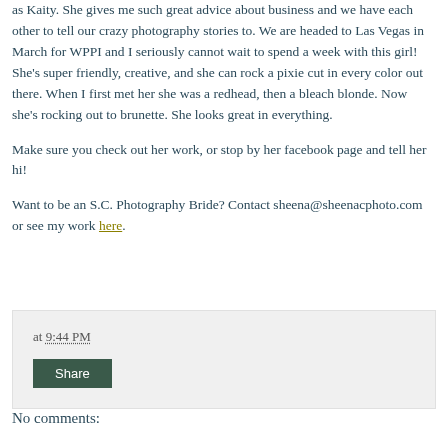as Kaity. She gives me such great advice about business and we have each other to tell our crazy photography stories to. We are headed to Las Vegas in March for WPPI and I seriously cannot wait to spend a week with this girl! She's super friendly, creative, and she can rock a pixie cut in every color out there. When I first met her she was a redhead, then a bleach blonde. Now she's rocking out to brunette. She looks great in everything.
Make sure you check out her work, or stop by her facebook page and tell her hi!
Want to be an S.C. Photography Bride? Contact sheena@sheenacphoto.com or see my work here.
at 9:44 PM
Share
No comments: